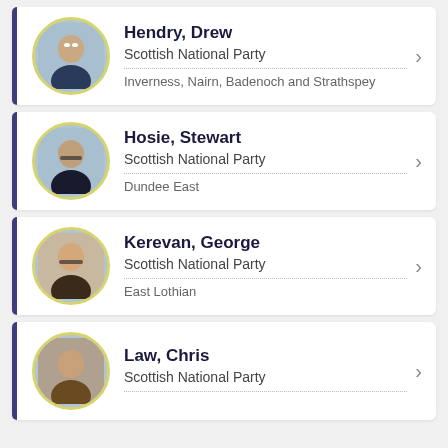Hendry, Drew | Scottish National Party | Inverness, Nairn, Badenoch and Strathspey
Hosie, Stewart | Scottish National Party | Dundee East
Kerevan, George | Scottish National Party | East Lothian
Law, Chris | Scottish National Party